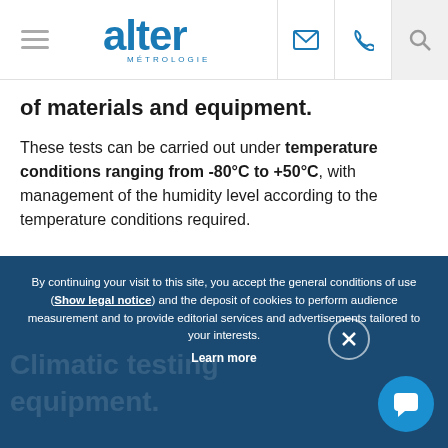Alter Métrologie — navigation header with logo, email, phone, search icons
of materials and equipment.
These tests can be carried out under temperature conditions ranging from -80°C to +50°C, with management of the humidity level according to the temperature conditions required.
By continuing your visit to this site, you accept the general conditions of use (Show legal notice) and the deposit of cookies to perform audience measurement and to provide editorial services and advertisements tailored to your interests. Learn more